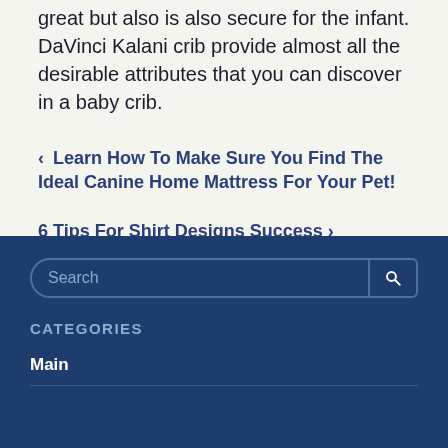great but also is also secure for the infant. DaVinci Kalani crib provide almost all the desirable attributes that you can discover in a baby crib.
‹ Learn How To Make Sure You Find The Ideal Canine Home Mattress For Your Pet!
6 Tips For Shirt Designs Success ›
CATEGORIES
Main